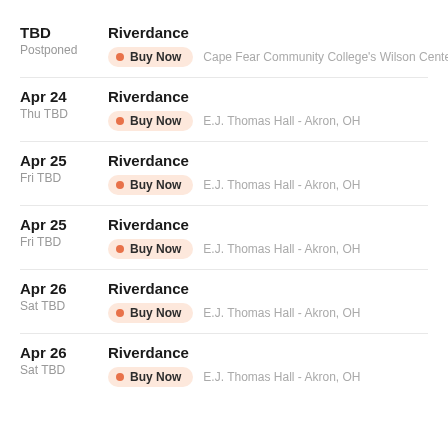TBD | Postponed | Riverdance | Buy Now | Cape Fear Community College's Wilson Cente...
Apr 24 | Thu TBD | Riverdance | Buy Now | E.J. Thomas Hall - Akron, OH
Apr 25 | Fri TBD | Riverdance | Buy Now | E.J. Thomas Hall - Akron, OH
Apr 25 | Fri TBD | Riverdance | Buy Now | E.J. Thomas Hall - Akron, OH
Apr 26 | Sat TBD | Riverdance | Buy Now | E.J. Thomas Hall - Akron, OH
Apr 26 | Sat TBD | Riverdance | Buy Now | E.J. Thomas Hall - Akron, OH